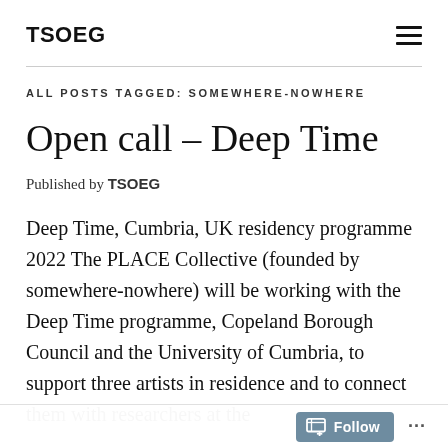TSOEG
ALL POSTS TAGGED: SOMEWHERE-NOWHERE
Open call – Deep Time
Published by TSOEG
Deep Time, Cumbria, UK residency programme 2022 The PLACE Collective (founded by somewhere-nowhere) will be working with the Deep Time programme, Copeland Borough Council and the University of Cumbria, to support three artists in residence and to connect them with researchers at the